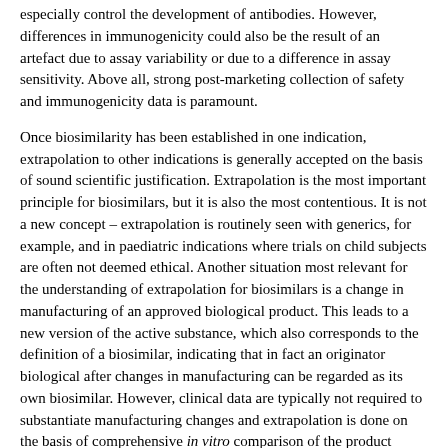especially control the development of antibodies. However, differences in immunogenicity could also be the result of an artefact due to assay variability or due to a difference in assay sensitivity. Above all, strong post-marketing collection of safety and immunogenicity data is paramount.
Once biosimilarity has been established in one indication, extrapolation to other indications is generally accepted on the basis of sound scientific justification. Extrapolation is the most important principle for biosimilars, but it is also the most contentious. It is not a new concept – extrapolation is routinely seen with generics, for example, and in paediatric indications where trials on child subjects are often not deemed ethical. Another situation most relevant for the understanding of extrapolation for biosimilars is a change in manufacturing of an approved biological product. This leads to a new version of the active substance, which also corresponds to the definition of a biosimilar, indicating that in fact an originator biological after changes in manufacturing can be regarded as its own biosimilar. However, clinical data are typically not required to substantiate manufacturing changes and extrapolation is done on the basis of comprehensive in vitro comparison of the product before and after the manufacturing change. In any case, extrapolation should always be seen in the light of the totality of data.
An update on biosimilars and switching experience – the